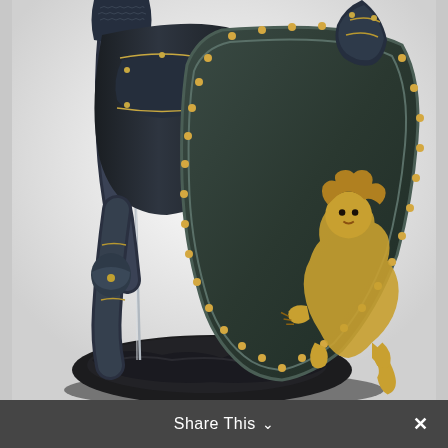[Figure (photo): Close-up photograph of a decorative medieval knight figurine or statue. The knight wears dark blackened armor with gold/bronze accents and rivets. The knight holds a long sword on the left side and a large heater-style shield on the right. The shield is dark green-black with gold rivets around the border and features a rampant lion heraldic emblem in gold/bronze relief at its center. The base of the figurine is dark and rocky. The background is white/light gray.]
Share This ∨  ×